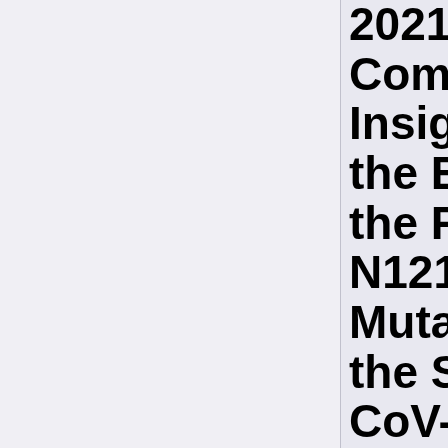2021. Computational Insights into the Effect of the R190Q N121Q Mutations on the SARS-CoV-2 Spike Complex with Biliverdin